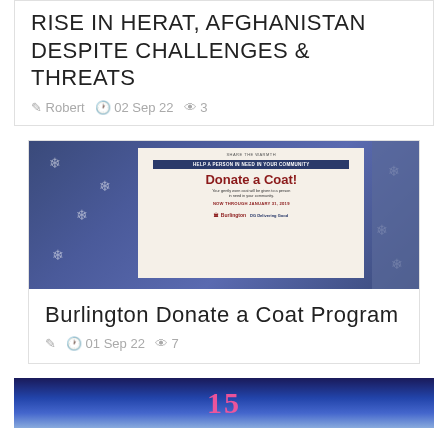RISE IN HERAT, AFGHANISTAN DESPITE CHALLENGES & THREATS
Robert  02 Sep 22  3
[Figure (photo): Photo of a Burlington store display with a 'Donate a Coat!' sign on a blue snowflake background. Sign reads: HELP A PERSON IN NEED IN YOUR COMMUNITY, Donate a Coat!, Your gently worn coat will be given to a person in need in your community. NOW THROUGH JANUARY 31, 2019. Burlington and Delivering Good logos at bottom.]
Burlington Donate a Coat Program
01 Sep 22  7
[Figure (photo): Partial image at bottom showing colorful graphic with number 15 visible]